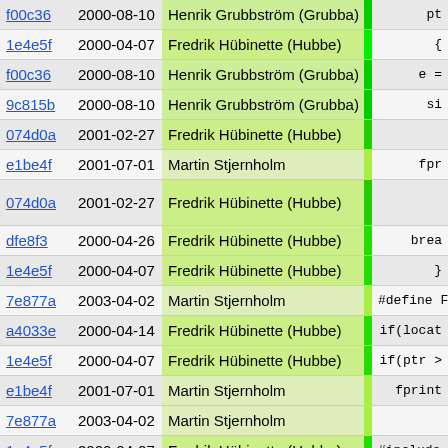| Hash | Date | Author | Code |
| --- | --- | --- | --- |
| f00c36 | 2000-08-10 | Henrik Grubbström (Grubba) | pt |
| 1e4e5f | 2000-04-07 | Fredrik Hübinette (Hubbe) | { |
| f00c36 | 2000-08-10 | Henrik Grubbström (Grubba) | e = |
| 9c815b | 2000-08-10 | Henrik Grubbström (Grubba) | si |
| 074d0a | 2001-02-27 | Fredrik Hübinette (Hubbe) |  |
| e1be4f | 2001-07-01 | Martin Stjernholm | fpr |
| 074d0a | 2001-02-27 | Fredrik Hübinette (Hubbe) |  |
| dfe8f3 | 2000-04-26 | Fredrik Hübinette (Hubbe) | brea |
| 1e4e5f | 2000-04-07 | Fredrik Hübinette (Hubbe) | } |
| 7e877a | 2003-04-02 | Martin Stjernholm | #define FOO |
| a4033e | 2000-04-14 | Fredrik Hübinette (Hubbe) | if(locat |
| 1e4e5f | 2000-04-07 | Fredrik Hübinette (Hubbe) | if(ptr > |
| e1be4f | 2001-07-01 | Martin Stjernholm | fprint |
| 7e877a | 2003-04-02 | Martin Stjernholm |  |
| 1e4e5f | 2000-04-07 | Fredrik Hübinette (Hubbe) | #include "pr |
| 0b6944 | 1998-01-19 | Fredrik Hübinette (Hubbe) |  |
| dfe8f3 | 2000-04-26 | Fredrik Hübinette (Hubbe) | brea |